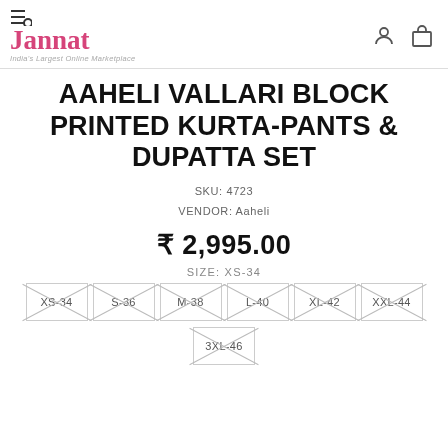Jannat — India's Largest Online Marketplace
AAHELI VALLARI BLOCK PRINTED KURTA-PANTS & DUPATTA SET
SKU: 4723
VENDOR: Aaheli
₹ 2,995.00
SIZE: XS-34
XS-34 (out of stock)
S-36 (out of stock)
M-38 (out of stock)
L-40 (out of stock)
XL-42 (out of stock)
XXL-44 (out of stock)
3XL-46 (out of stock)